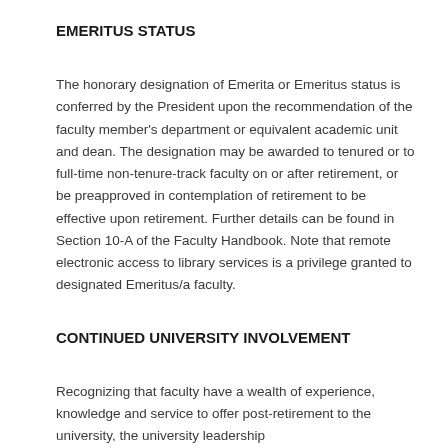EMERITUS STATUS
The honorary designation of Emerita or Emeritus status is conferred by the President upon the recommendation of the faculty member's department or equivalent academic unit and dean. The designation may be awarded to tenured or to full-time non-tenure-track faculty on or after retirement, or be preapproved in contemplation of retirement to be effective upon retirement. Further details can be found in Section 10-A of the Faculty Handbook. Note that remote electronic access to library services is a privilege granted to designated Emeritus/a faculty.
CONTINUED UNIVERSITY INVOLVEMENT
Recognizing that faculty have a wealth of experience, knowledge and service to offer post-retirement to the university, the university leadership